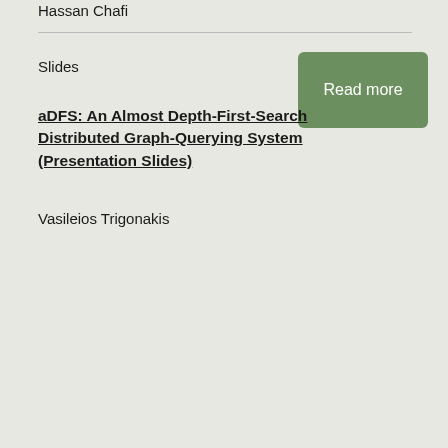Hassan Chafi
Slides
aDFS: An Almost Depth-First-Search Distributed Graph-Querying System (Presentation Slides)
Vasileios Trigonakis